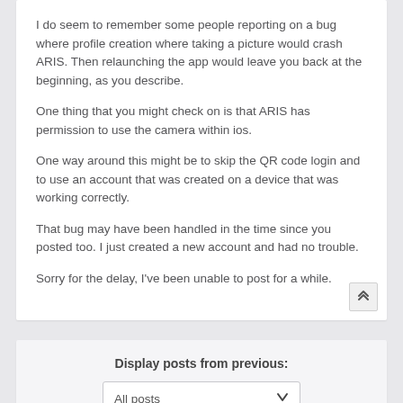I do seem to remember some people reporting on a bug where profile creation where taking a picture would crash ARIS. Then relaunching the app would leave you back at the beginning, as you describe.
One thing that you might check on is that ARIS has permission to use the camera within ios.
One way around this might be to skip the QR code login and to use an account that was created on a device that was working correctly.
That bug may have been handled in the time since you posted too. I just created a new account and had no trouble.
Sorry for the delay, I've been unable to post for a while.
Display posts from previous:
All posts